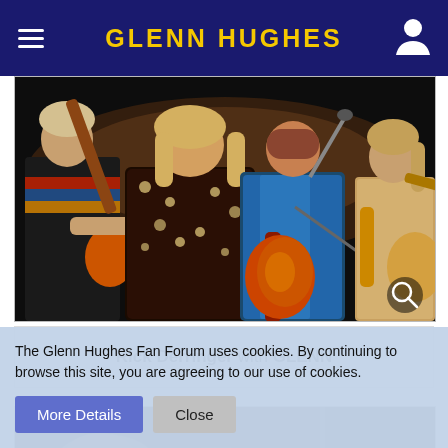GLENN HUGHES
[Figure (photo): Concert photo showing Glenn Hughes and Rick Derringer performing on stage together with band members. Glenn Hughes in blue shirt playing bass guitar, Rick Derringer in floral shirt, guitarist in striped shirt on left, another guitarist on right.]
Rick Derringer with GLENN
[Figure (photo): Partial view of a second concert photo showing audience and stage, partially obscured by cookie banner.]
The Glenn Hughes Fan Forum uses cookies. By continuing to browse this site, you are agreeing to our use of cookies.
More Details    Close